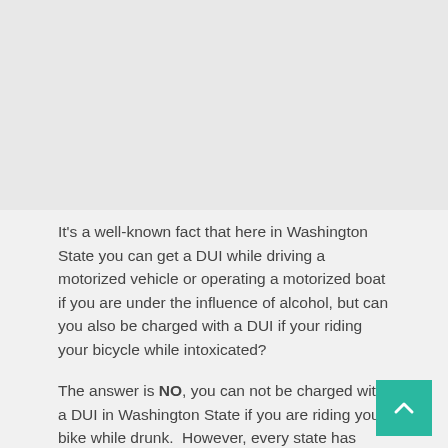[Figure (photo): Partially visible image at the top of the page, appears to be a website article header image.]
It's a well-known fact that here in Washington State you can get a DUI while driving a motorized vehicle or operating a motorized boat if you are under the influence of alcohol, but can you also be charged with a DUI if your riding your bicycle while intoxicated?
The answer is NO, you can not be charged with a DUI in Washington State if you are riding your bike while drunk.  However, every state has their own laws pertaining to DUI bike riding.  For example, if you were under the influence of alcohol and/or drugs on a public road in California, you could be charged with a misdemeanor and face a $250.00 fine (separate motorized DUI charge).  Contrasting California's DUI bike laws, are states such as South Dakota who